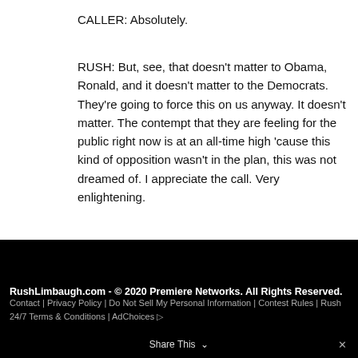CALLER: Absolutely.
RUSH: But, see, that doesn't matter to Obama, Ronald, and it doesn't matter to the Democrats. They're going to force this on us anyway. It doesn't matter. The contempt that they are feeling for the public right now is at an all-time high 'cause this kind of opposition wasn't in the plan, this was not dreamed of. I appreciate the call. Very enlightening.
RushLimbaugh.com - © 2020 Premiere Networks. All Rights Reserved.
Contact | Privacy Policy | Do Not Sell My Personal Information | Contest Rules | Rush 24/7 Terms & Conditions | AdChoices ▷
Share This ∨  ✕